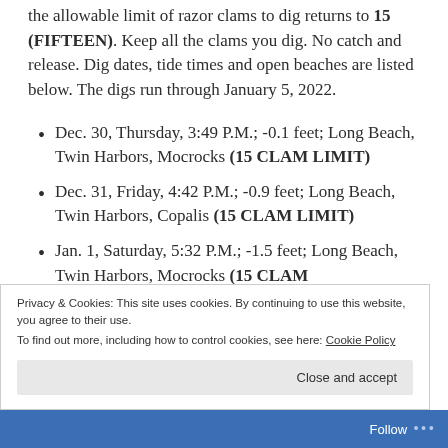the allowable limit of razor clams to dig returns to 15 (FIFTEEN). Keep all the clams you dig. No catch and release. Dig dates, tide times and open beaches are listed below. The digs run through January 5, 2022.
Dec. 30, Thursday, 3:49 P.M.; -0.1 feet; Long Beach, Twin Harbors, Mocrocks (15 CLAM LIMIT)
Dec. 31, Friday, 4:42 P.M.; -0.9 feet; Long Beach, Twin Harbors, Copalis (15 CLAM LIMIT)
Jan. 1, Saturday, 5:32 P.M.; -1.5 feet; Long Beach, Twin Harbors, Mocrocks (15 CLAM
Privacy & Cookies: This site uses cookies. By continuing to use this website, you agree to their use.
To find out more, including how to control cookies, see here: Cookie Policy
Close and accept